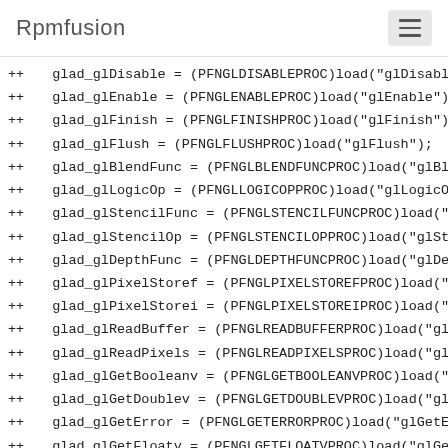Rpmfusion
++ glad_glDisable = (PFNGLDISABLEPROC)load("glDisable
++ glad_glEnable = (PFNGLENABLEPROC)load("glEnable");
++ glad_glFinish = (PFNGLFINISHPROC)load("glFinish");
++ glad_glFlush = (PFNGLFLUSHPROC)load("glFlush");
++ glad_glBlendFunc = (PFNGLBLENDFUNCPROC)load("glBle
++ glad_glLogicOp = (PFNGLLOGICOPPROC)load("glLogicOp
++ glad_glStencilFunc = (PFNGLSTENCILFUNCPROC)load("g
++ glad_glStencilOp = (PFNGLSTENCILOPPROC)load("glSte
++ glad_glDepthFunc = (PFNGLDEPTHFUNCPROC)load("glDep
++ glad_glPixelStoref = (PFNGLPIXELSTOREFPROC)load("g
++ glad_glPixelStorei = (PFNGLPIXELSTOREIPROC)load("g
++ glad_glReadBuffer = (PFNGLREADBUFFERPROC)load("glR
++ glad_glReadPixels = (PFNGLREADPIXELSPROC)load("glR
++ glad_glGetBooleanv = (PFNGLGETBOOLEANVPROC)load("g
++ glad_glGetDoublev = (PFNGLGETDOUBLEVPROC)load("glG
++ glad_glGetError = (PFNGLGETERRORPROC)load("glGetEr
++ glad_glGetFloatv = (PFNGLGETFLOATVPROC)load("glGet
++ glad_glGetIntegerv = (PFNGLGETINTEGERVPROC)load("g
++ glad_glGetString = (PFNGLGETSTRINGPROC)load("glGet
++ glad_glGetTexImage = (PFNGLGETTEXIMAGEPROC)load("